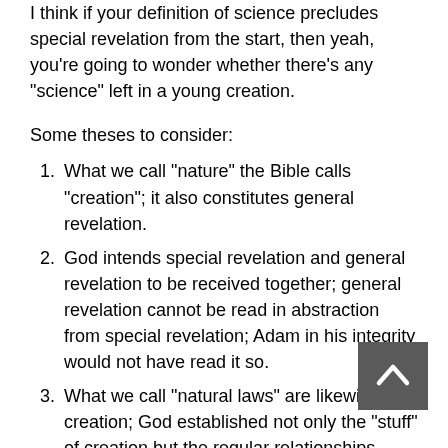I think if your definition of science precludes special revelation from the start, then yeah, you're going to wonder whether there's any "science" left in a young creation.
Some theses to consider:
What we call "nature" the Bible calls "creation"; it also constitutes general revelation.
God intends special revelation and general revelation to be received together; general revelation cannot be read in abstraction from special revelation; Adam in his integrity would not have read it so.
What we call "natural laws" are likewise creation; God established not only the "stuff" of creation but the regular relationships among the particulars; we discover these relationships and speak of them in terms of causality, matter, energy, purpose, adaptedness, etc.
The very reason these relationships are intelligible to